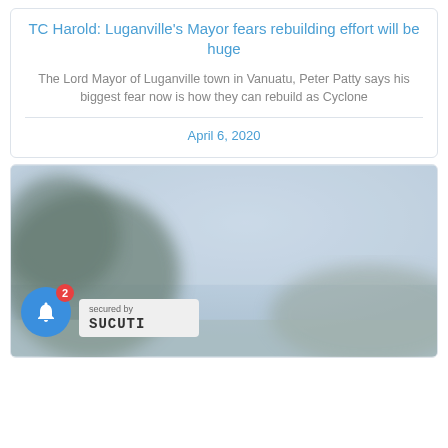TC Harold: Luganville's Mayor fears rebuilding effort will be huge
The Lord Mayor of Luganville town in Vanuatu, Peter Patty says his biggest fear now is how they can rebuild as Cyclone
April 6, 2020
[Figure (photo): Blurred outdoor photo showing a hazy sky and landscape, likely related to Cyclone Harold aftermath in Vanuatu]